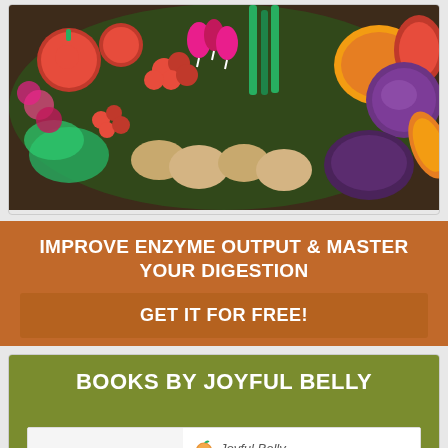[Figure (photo): Colorful assortment of fresh vegetables and produce including red tomatoes, green peppers, radishes, onions, potatoes, red cabbage, and various other vegetables arranged together]
IMPROVE ENZYME OUTPUT & MASTER YOUR DIGESTION
GET IT FOR FREE!
BOOKS BY JOYFUL BELLY
[Figure (photo): Book cover preview for Joyful Belly book titled 'explore your HUNGER' - A Guide to Hunger, Appetite & Food. Shows the Joyful Belly logo with an orange/peach icon, an orange subtitle banner, and the book title in mixed colors.]